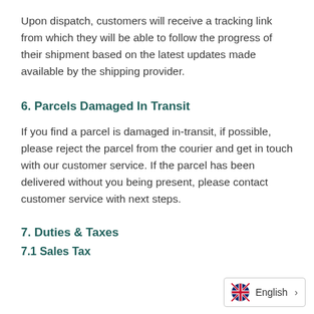Upon dispatch, customers will receive a tracking link from which they will be able to follow the progress of their shipment based on the latest updates made available by the shipping provider.
6. Parcels Damaged In Transit
If you find a parcel is damaged in-transit, if possible, please reject the parcel from the courier and get in touch with our customer service. If the parcel has been delivered without you being present, please contact customer service with next steps.
7. Duties & Taxes
7.1 Sales Tax